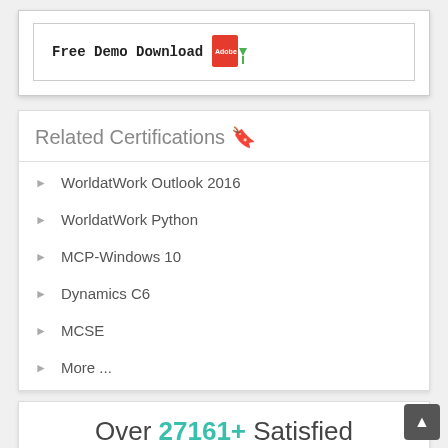[Figure (other): Free Demo Download button with PDF/Adobe icon]
Related Certifications 🔖
WorldatWork Outlook 2016
WorldatWork Python
MCP-Windows 10
Dynamics C6
MCSE
More ...
Over 27161+ Satisfied